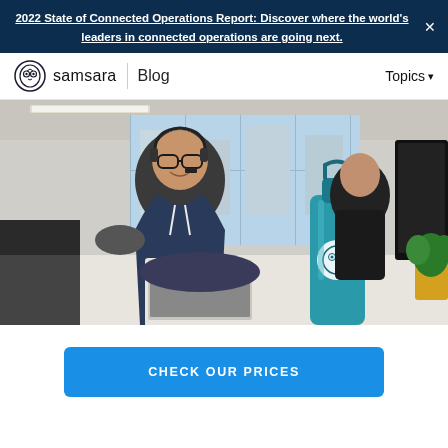2022 State of Connected Operations Report: Discover where the world's leaders in connected operations are going next.
[Figure (screenshot): Samsara Blog navigation bar with logo, Blog label, and Topics dropdown]
[Figure (photo): Office scene with a man wearing headset and glasses smiling at laptop, a person in background, a teal water bottle with Samsara logo, and a plant on desk]
CHECK OUR PRICES